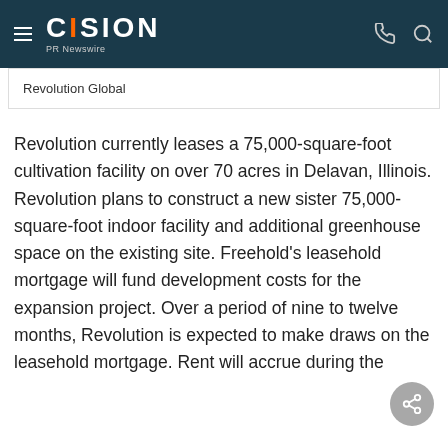CISION PR Newswire
Revolution Global
Revolution currently leases a 75,000-square-foot cultivation facility on over 70 acres in Delavan, Illinois. Revolution plans to construct a new sister 75,000-square-foot indoor facility and additional greenhouse space on the existing site. Freehold's leasehold mortgage will fund development costs for the expansion project. Over a period of nine to twelve months, Revolution is expected to make draws on the leasehold mortgage. Rent will accrue during the